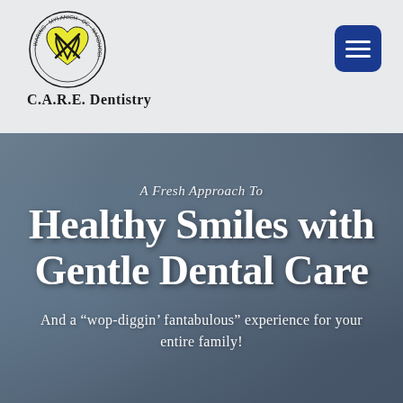[Figure (logo): C.A.R.E. Dentistry logo with yellow heart and tooth design, circular badge with text around it]
C.A.R.E. Dentistry
[Figure (other): Hamburger menu button icon (three horizontal lines) on dark blue rounded rectangle background]
[Figure (photo): Background photo of a dental office with a patient in a dental chair being treated, muted blue-gray tones overlay]
A Fresh Approach To
Healthy Smiles with Gentle Dental Care
And a “wop-diggin’ fantabulous” experience for your entire family!